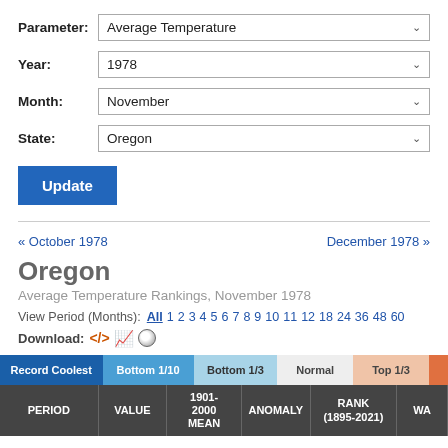Parameter: Average Temperature
Year: 1978
Month: November
State: Oregon
Update
« October 1978
December 1978 »
Oregon
Average Temperature Rankings, November 1978
View Period (Months): All 1 2 3 4 5 6 7 8 9 10 11 12 18 24 36 48 60
Download:
[Figure (infographic): Color legend bar showing ranking categories: Record Coolest (dark blue), Bottom 1/10 (medium blue), Bottom 1/3 (light blue), Normal (light gray), Top 1/3 (light orange), and a partially visible orange segment]
| PERIOD | VALUE | 1901-2000 MEAN | ANOMALY | RANK (1895-2021) | WA |
| --- | --- | --- | --- | --- | --- |